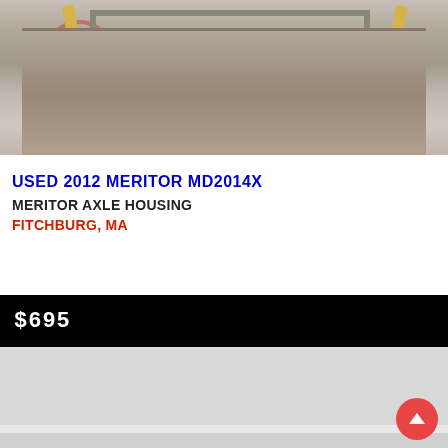[Figure (photo): Photo of a used 2012 Meritor MD2014X axle housing on a wooden pallet with yellow/gold straps securing it]
USED 2012 MERITOR MD2014X
MERITOR AXLE HOUSING
FITCHBURG, MA
$695